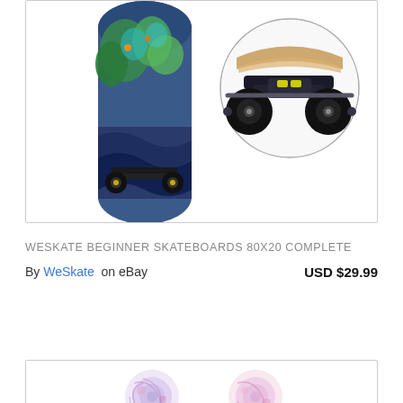[Figure (photo): Product photo of a skateboard with tropical/zombie artwork on the deck (blue and green tones), with black trucks and wheels. A circular inset image shows a close-up of the skateboard trucks and wheels.]
WESKATE BEGINNER SKATEBOARDS 80X20 COMPLETE
By WeSkate on eBay    USD $29.99
[Figure (photo): Partial view of skateboard wheels at the bottom of the page, colorful pastel design.]